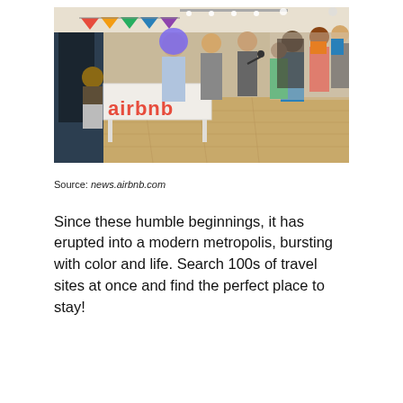[Figure (photo): Indoor event photo at an Airbnb office. People standing and mingling in a bright room with wood floors and track lighting. Large red 'airbnb' 3D letters on a white table in the foreground left. Colorful bunting flags hang from the ceiling. Several attendees visible, some wearing lanyards.]
Source: news.airbnb.com
Since these humble beginnings, it has erupted into a modern metropolis, bursting with color and life. Search 100s of travel sites at once and find the perfect place to stay!